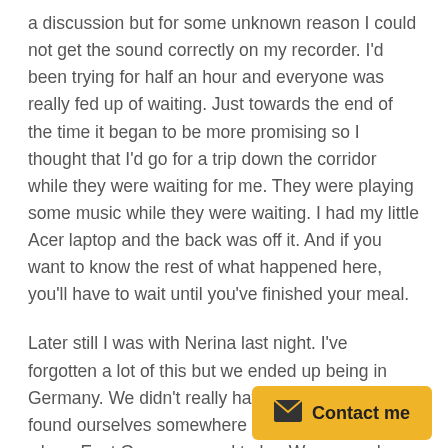a discussion but for some unknown reason I could not get the sound correctly on my recorder. I'd been trying for half an hour and everyone was really fed up of waiting. Just towards the end of the time it began to be more promising so I thought that I'd go for a trip down the corridor while they were waiting for me. They were playing some music while they were waiting. I had my little Acer laptop and the back was off it. And if you want to know the rest of what happened here, you'll have to wait until you've finished your meal.
Later still I was with Nerina last night. I've forgotten a lot of this but we ended up being in Germany. We didn't really have much time but we found ourselves somewhere round by the border where East Germany used to be. We crossed over the border, not that there was a border to cross these days and